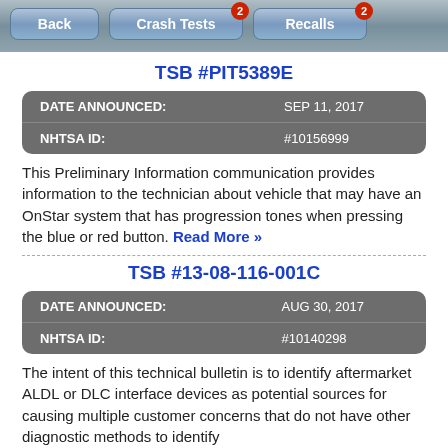Back | Crash Tests (2) | Recalls (2)
TSB #PIT5389E
| DATE ANNOUNCED: | SEP 11, 2017 |
| NHTSA ID: | #10156999 |
This Preliminary Information communication provides information to the technician about vehicle that may have an OnStar system that has progression tones when pressing the blue or red button. Read More »
TSB #13-08-116-001C
| DATE ANNOUNCED: | AUG 30, 2017 |
| NHTSA ID: | #10140298 |
The intent of this technical bulletin is to identify aftermarket ALDL or DLC interface devices as potential sources for causing multiple customer concerns that do not have other diagnostic methods to identify